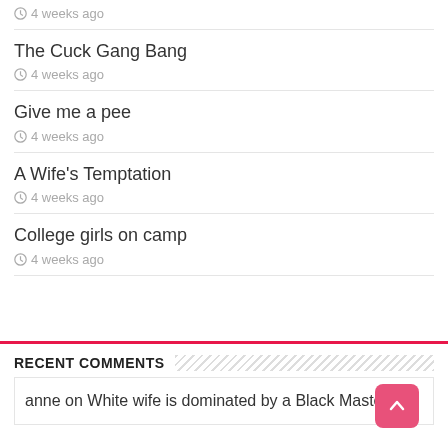4 weeks ago
The Cuck Gang Bang
4 weeks ago
Give me a pee
4 weeks ago
A Wife's Temptation
4 weeks ago
College girls on camp
4 weeks ago
RECENT COMMENTS
anne on White wife is dominated by a Black Master